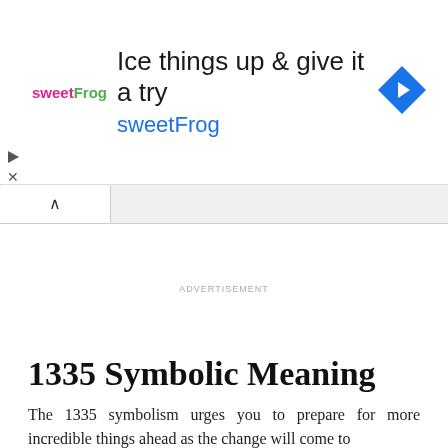[Figure (other): Advertisement banner for sweetFrog frozen yogurt with logo, headline 'Ice things up & give it a try', brand name 'sweetFrog' in cyan, and a blue diamond navigation icon on the right]
ADVERTISEMENT
1335 Symbolic Meaning
The 1335 symbolism urges you to prepare for more incredible things ahead as the change will come to